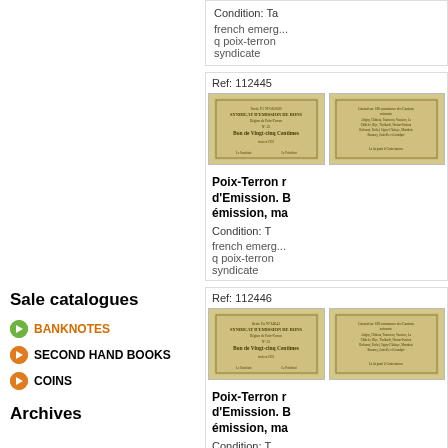Condition: T...
french emerg... q poix-terron syndicate
Ref: 112445
[Figure (photo): Two sides of a French emergency banknote from Syndicat d'Emission de Bons, Poix-Terron region, 25 centimes]
Poix-Terron ... d'Emission. B... émission, ma...
Condition: T
french emerg... q poix-terron syndicate
Ref: 112446
[Figure (photo): Two sides of a French emergency banknote from Syndicat d'Emission de Bons, Poix-Terron region, 25 centimes]
Poix-Terron ... d'Emission. B... émission, ma...
Condition: T
french emerg... q poix-terron syndicate
Sale catalogues
BANKNOTES
SECOND HAND BOOKS
COINS
Archives
Ref: 112447
[Figure (photo): Two sides of a French emergency banknote from Syndicat d'Emission de Bons, Poix-Terron region, 25 centimes (partial)]
Poix-Terron ...